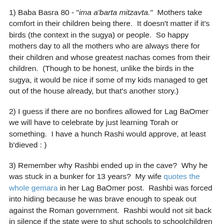1) Baba Basra 80 - "ima a'barta mitzavta."  Mothers take comfort in their children being there.  It doesn't matter if it's birds (the context in the sugya) or people.  So happy mothers day to all the mothers who are always there for their children and whose greatest nachas comes from their children.  (Though to be honest, unlike the birds in the sugya, it would be nice if some of my kids managed to get out of the house already, but that's another story.)
2) I guess if there are no bonfires allowed for Lag BaOmer we will have to celebrate by just learning Torah or something.  I have a hunch Rashi would approve, at least b'dieved : )
3) Remember why Rashbi ended up in the cave?  Why he was stuck in a bunker for 13 years?  My wife quotes the whole gemara in her Lag BaOmer post.  Rashbi was forced into hiding because he was brave enough to speak out against the Roman government.  Rashbi would not sit back in silence if the state were to shut schools to schoolchildren who are largely immune from the worst dangers of a virus but force nursing homes filled with vulnerable elderly to...